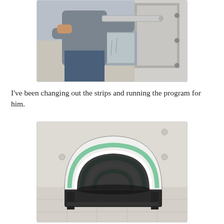[Figure (photo): A person in a grey shirt and jeans working at an industrial machine, inserting or removing a metal strip from a stainless steel processing unit with an open door.]
I've been changing out the strips and running the program for him.
[Figure (photo): A half-cylinder tunnel-shaped device with green and white curved panels on top and a black metal frame, sitting on a tiled floor in a white room. The device resembles a portable infrared or phototherapy tunnel.]